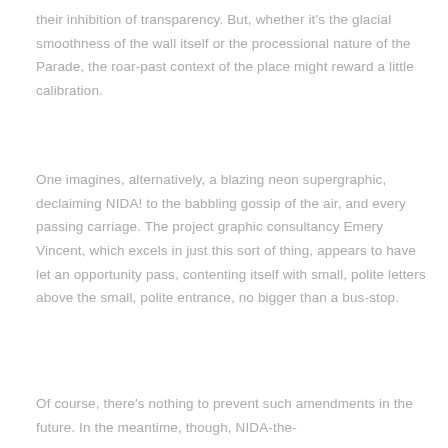their inhibition of transparency. But, whether it's the glacial smoothness of the wall itself or the processional nature of the Parade, the roar-past context of the place might reward a little calibration.
One imagines, alternatively, a blazing neon supergraphic, declaiming NIDA! to the babbling gossip of the air, and every passing carriage. The project graphic consultancy Emery Vincent, which excels in just this sort of thing, appears to have let an opportunity pass, contenting itself with small, polite letters above the small, polite entrance, no bigger than a bus-stop.
Of course, there's nothing to prevent such amendments in the future. In the meantime, though, NIDA-the-